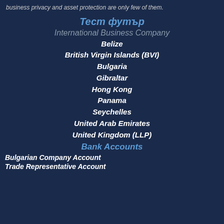business privacy and asset protection are only few of them.
Тест футър
International Business Company
Belize
British Virgin Islands (BVI)
Bulgaria
Gibraltar
Hong Kong
Panama
Seychelles
United Arab Emirates
United Kingdom (LLP)
Bank Accounts
Bulgarian Company Account
Trade Representative Account